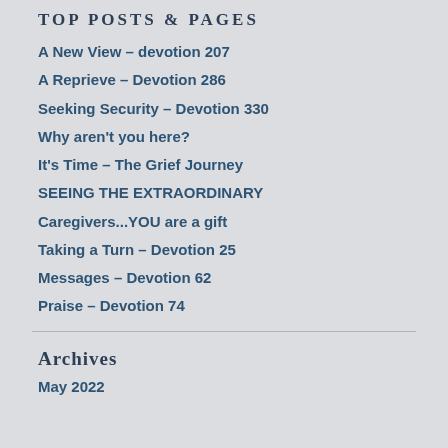TOP POSTS & PAGES
A New View – devotion 207
A Reprieve – Devotion 286
Seeking Security – Devotion 330
Why aren't you here?
It's Time – The Grief Journey
SEEING THE EXTRAORDINARY
Caregivers...YOU are a gift
Taking a Turn – Devotion 25
Messages – Devotion 62
Praise – Devotion 74
Archives
May 2022